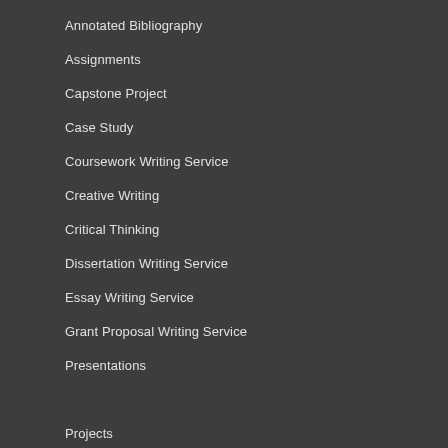Annotated Bibliography
Assignments
Capstone Project
Case Study
Coursework Writing Service
Creative Writing
Critical Thinking
Dissertation Writing Service
Essay Writing Service
Grant Proposal Writing Service
Presentations
Projects
Report Writing Service
Research Paper Writing Service
Reviews
Speech Writing
Term Paper Writing Service
Thesis Paper Writing Services